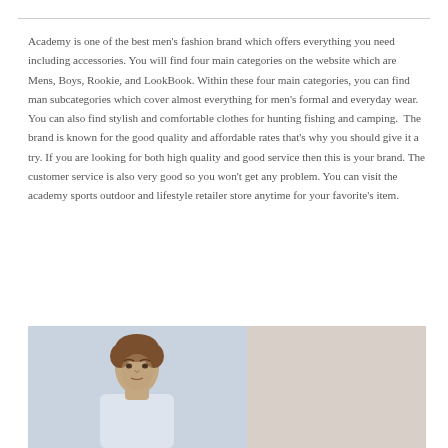Academy is one of the best men's fashion brand which offers everything you need including accessories. You will find four main categories on the website which are Mens, Boys, Rookie, and LookBook. Within these four main categories, you can find man subcategories which cover almost everything for men's formal and everyday wear. You can also find stylish and comfortable clothes for hunting fishing and camping.  The brand is known for the good quality and affordable rates that's why you should give it a try. If you are looking for both high quality and good service then this is your brand. The customer service is also very good so you won't get any problem. You can visit the academy sports outdoor and lifestyle retailer store anytime for your favorite's item.
[Figure (photo): A young man in a light blue/white t-shirt against a light blue background on the left half, and a plain beige/tan background on the right half.]